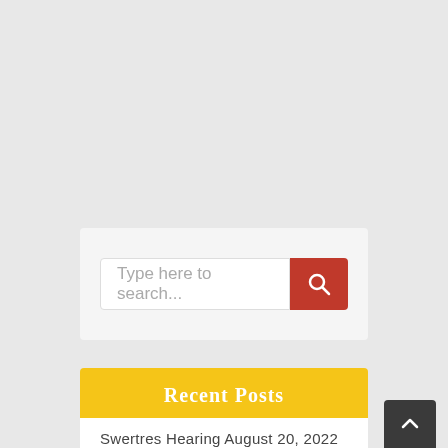[Figure (screenshot): Search widget with text input field saying 'Type here to search...' and a red search button with magnifying glass icon]
Recent Posts
Swertres Hearing August 20, 2022